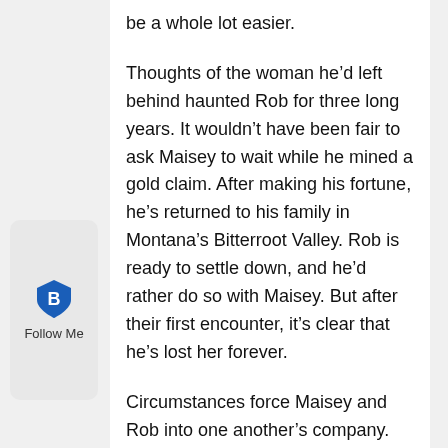be a whole lot easier.
Thoughts of the woman he’d left behind haunted Rob for three long years. It wouldn’t have been fair to ask Maisey to wait while he mined a gold claim. After making his fortune, he’s returned to his family in Montana’s Bitterroot Valley. Rob is ready to settle down, and he’d rather do so with Maisey. But after their first encounter, it’s clear that he’s lost her forever.
Circumstances force Maisey and Rob into one another’s company. They learn, through hardship and loss, that the only way to one another is to surrender first to God’s love.